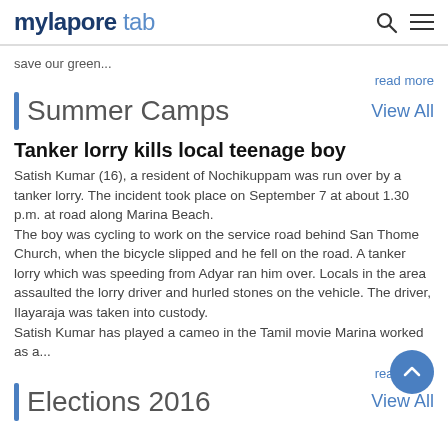mylapore tab
save our green...
read more
Summer Camps   View All
Tanker lorry kills local teenage boy
Satish Kumar (16), a resident of Nochikuppam was run over by a tanker lorry. The incident took place on September 7 at about 1.30 p.m. at road along Marina Beach.
The boy was cycling to work on the service road behind San Thome Church, when the bicycle slipped and he fell on the road. A tanker lorry which was speeding from Adyar ran him over. Locals in the area assaulted the lorry driver and hurled stones on the vehicle. The driver, Ilayaraja was taken into custody.
Satish Kumar has played a cameo in the Tamil movie Marin... worked as a...
read more
Elections 2016   View All